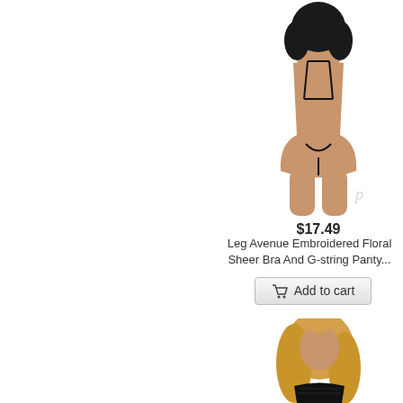[Figure (photo): Product photo of model from behind wearing black lingerie bra and g-string, white background, with watermark]
$17.49
Leg Avenue Embroidered Floral Sheer Bra And G-string Panty...
Add to cart
[Figure (photo): Product photo of blonde model wearing black lingerie, partial view from above waist, white background]